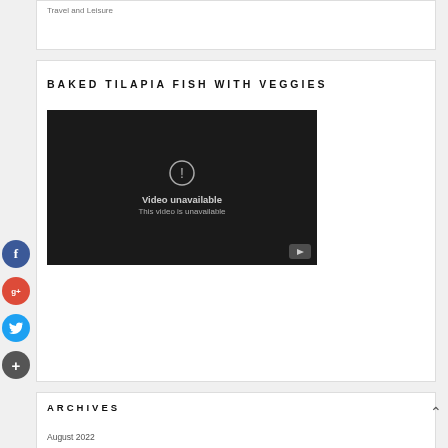Travel and Leisure
BAKED TILAPIA FISH WITH VEGGIES
[Figure (screenshot): Embedded YouTube video player showing 'Video unavailable / This video is unavailable' message on dark background with YouTube play button icon in bottom right corner]
ARCHIVES
August 2022